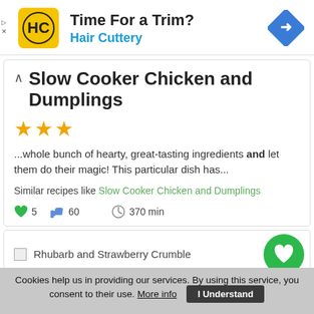[Figure (screenshot): Hair Cuttery advertisement banner with yellow logo, 'Time For a Trim?' headline, blue navigation arrow icon]
Slow Cooker Chicken and Dumplings
[Figure (other): Three orange star rating icons]
...whole bunch of hearty, great-tasting ingredients and let them do their magic! This particular dish has...
Similar recipes like Slow Cooker Chicken and Dumplings
♥ 5   👍 60   🕐 370 min
[Rhubarb and Strawberry Crumble
Cookies help us in providing our services. By using this service, you consent to their use. More info   I Understand